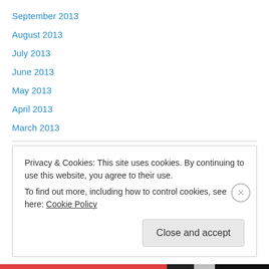September 2013
August 2013
July 2013
June 2013
May 2013
April 2013
March 2013
Categories
Chats
Claudia's Trips
Privacy & Cookies: This site uses cookies. By continuing to use this website, you agree to their use.
To find out more, including how to control cookies, see here: Cookie Policy
Close and accept